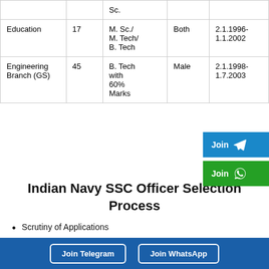| Branch | Vacancies | Qualification | Gender | Date of Birth |
| --- | --- | --- | --- | --- |
|  |  | Sc. |  |  |
| Education | 17 | M. Sc./ M. Tech/ B. Tech | Both | 2.1.1996-1.1.2002 |
| Engineering Branch (GS) | 45 | B. Tech with 60% Marks | Male | 2.1.1998-1.7.2003 |
Indian Navy SSC Officer Selection Process
Scrutiny of Applications
SSC Interview
Document Verification